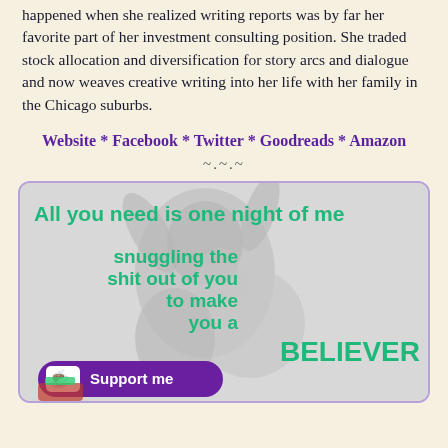happened when she realized writing reports was by far her favorite part of her investment consulting position. She traded stock allocation and diversification for story arcs and dialogue and now weaves creative writing into her life with her family in the Chicago suburbs.
Website * Facebook * Twitter * Goodreads * Amazon
~.~.~
[Figure (illustration): Promotional book quote image with text: 'All you need is one night of me snuggling the shit out of you to make you a BELIEVER' overlaid on a grayscale photo of a person. A purple 'Support me' button with a heart-in-cup icon is visible at the bottom left.]